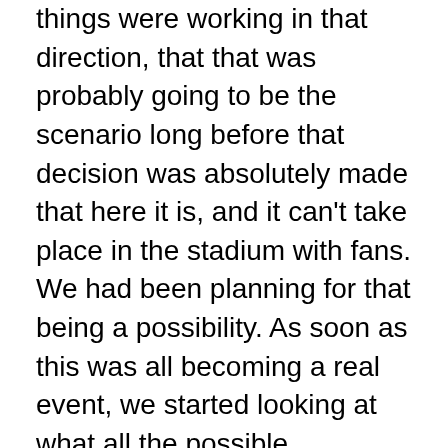things were working in that direction, that that was probably going to be the scenario long before that decision was absolutely made that here it is, and it can't take place in the stadium with fans. We had been planning for that being a possibility. As soon as this was all becoming a real event, we started looking at what all the possible scenarios and outcomes could be. Getting to a place where we could continue to do WrestleMania, obviously without fans, was a decision that we wanted to get to, because for us right now, we feel like with everything going on in the world [and] everything everybody is going through, it's really now more important than ever for people to have that escape, for them to have something that they can tune in to and just kind of relax and do something else.